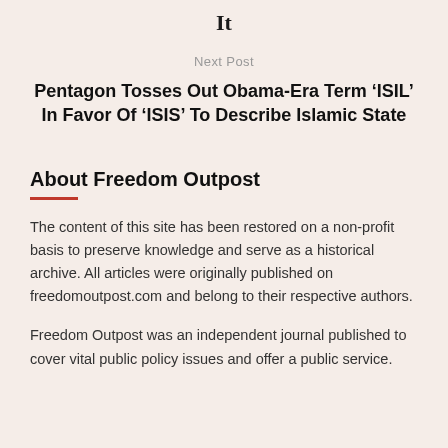It
Next Post
Pentagon Tosses Out Obama-Era Term ‘ISIL’ In Favor Of ‘ISIS’ To Describe Islamic State
About Freedom Outpost
The content of this site has been restored on a non-profit basis to preserve knowledge and serve as a historical archive. All articles were originally published on freedomoutpost.com and belong to their respective authors.
Freedom Outpost was an independent journal published to cover vital public policy issues and offer a public service.